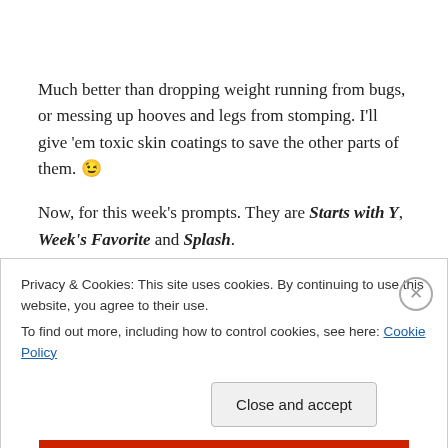Much better than dropping weight running from bugs, or messing up hooves and legs from stomping. I'll give 'em toxic skin coatings to save the other parts of them. 😉
Now, for this week's prompts. They are Starts with Y, Week's Favorite and Splash.
Starts with Y
Privacy & Cookies: This site uses cookies. By continuing to use this website, you agree to their use.
To find out more, including how to control cookies, see here: Cookie Policy